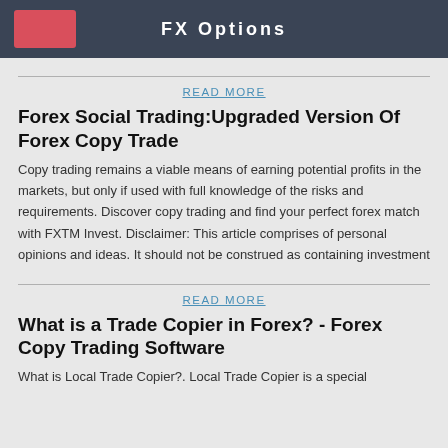FX Options
READ MORE
Forex Social Trading:Upgraded Version Of Forex Copy Trade
Copy trading remains a viable means of earning potential profits in the markets, but only if used with full knowledge of the risks and requirements. Discover copy trading and find your perfect forex match with FXTM Invest. Disclaimer: This article comprises of personal opinions and ideas. It should not be construed as containing investment
READ MORE
What is a Trade Copier in Forex? - Forex Copy Trading Software
What is Local Trade Copier?. Local Trade Copier is a special